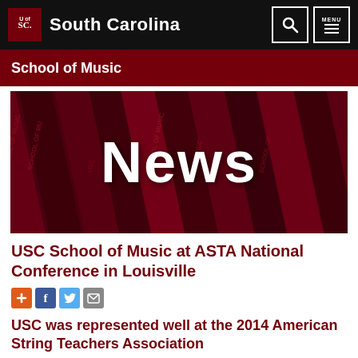South Carolina — School of Music
[Figure (photo): News banner with dark red/crimson background showing stacked ribbon banners with 'School of Music' text, overlaid with large white 'News' text]
USC School of Music at ASTA National Conference in Louisville
USC was represented well at the 2014 American String Teachers Association
[Figure (infographic): Social share buttons: plus/add, Facebook, Twitter, email]